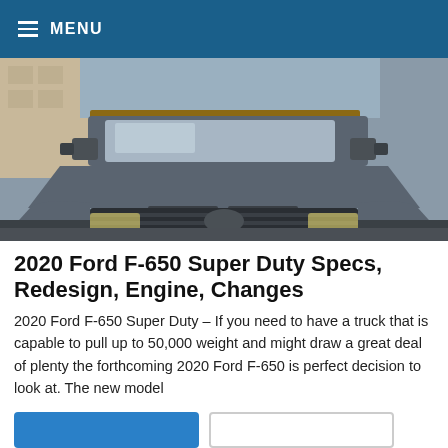MENU
[Figure (photo): Front view of a large gray Ford F-650 Super Duty truck, photographed from a low angle showing the grille, hood, windshield, and side mirrors. Background shows urban street environment.]
2020 Ford F-650 Super Duty Specs, Redesign, Engine, Changes
2020 Ford F-650 Super Duty – If you need to have a truck that is capable to pull up to 50,000 weight and might draw a great deal of plenty the forthcoming 2020 Ford F-650 is perfect decision to look at. The new model